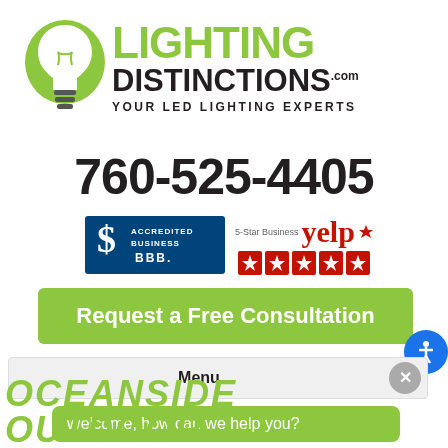[Figure (logo): Lighting Distinctions logo with green light bulb icon, green LIGHTING text, dark DISTINCTIONS.com text, tagline YOUR LED LIGHTING EXPERTS]
760-525-4405
[Figure (logo): BBB Accredited Business badge and Yelp 5-Star Business badge with red stars]
Request a Free Consultation
Menu
Welcome, how can we help you?
OCEANSIDE OUTDOOR